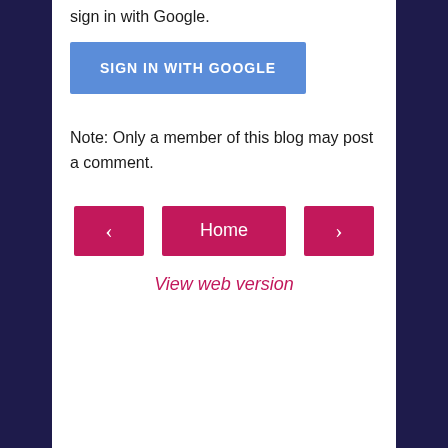sign in with Google.
[Figure (other): Blue 'SIGN IN WITH GOOGLE' button]
Note: Only a member of this blog may post a comment.
[Figure (other): Navigation row with left arrow button, Home button, and right arrow button]
View web version